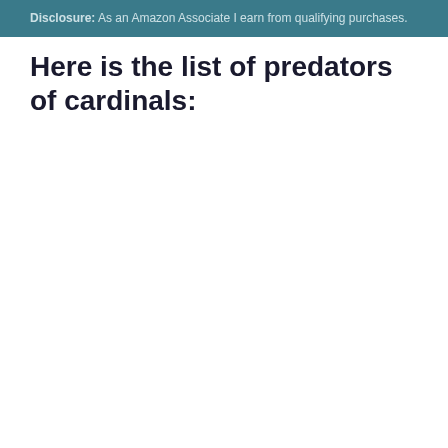Disclosure: As an Amazon Associate I earn from qualifying purchases.
Here is the list of predators of cardinals: